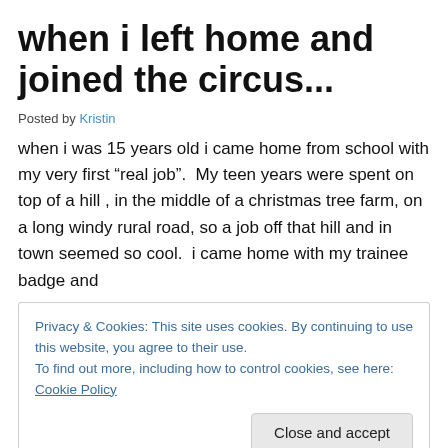when i left home and joined the circus...
Posted by Kristin
when i was 15 years old i came home from school with my very first “real job”.  My teen years were spent on top of a hill , in the middle of a christmas tree farm, on a long windy rural road, so a job off that hill and in town seemed so cool.  i came home with my trainee badge and
Privacy & Cookies: This site uses cookies. By continuing to use this website, you agree to their use.
To find out more, including how to control cookies, see here: Cookie Policy
[Close and accept]
sundae on someone, or worse, coffee! ( i have done both.)